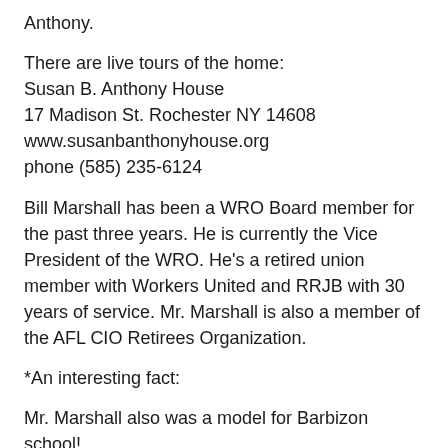Anthony.
There are live tours of the home:
Susan B. Anthony House
17 Madison St. Rochester NY 14608
www.susanbanthonyhouse.org
phone (585) 235-6124
Bill Marshall has been a WRO Board member for the past three years. He is currently the Vice President of the WRO. He's a retired union member with Workers United and RRJB with 30 years of service. Mr. Marshall is also a member of the AFL CIO Retirees Organization.
*An interesting fact:
Mr. Marshall also was a model for Barbizon school!
He has dedicated his life to helping Union families and the Rochester community families. He has devoted thousands of hours in the political arena in presidential elections,